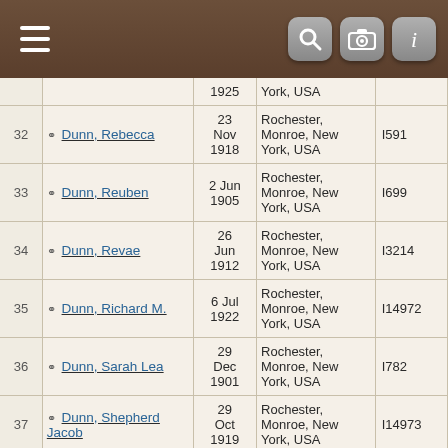[Figure (screenshot): Mobile app header bar with hamburger menu (three horizontal lines) on the left, and three icon buttons (search magnifier, camera, info/italic i) on the right, on a dark brown background.]
| # | Name | Date | Place | ID |
| --- | --- | --- | --- | --- |
|  |  | 1925 | York, USA |  |
| 32 | ⚭ Dunn, Rebecca | 23 Nov 1918 | Rochester, Monroe, New York, USA | I591 |
| 33 | ⚭ Dunn, Reuben | 2 Jun 1905 | Rochester, Monroe, New York, USA | I699 |
| 34 | ⚭ Dunn, Revae | 26 Jun 1912 | Rochester, Monroe, New York, USA | I3214 |
| 35 | ⚭ Dunn, Richard M. | 6 Jul 1922 | Rochester, Monroe, New York, USA | I14972 |
| 36 | ⚭ Dunn, Sarah Lea | 29 Dec 1901 | Rochester, Monroe, New York, USA | I782 |
| 37 | ⚭ Dunn, Shepherd Jacob | 29 Oct 1919 | Rochester, Monroe, New York, USA | I14973 |
| 38 | ⚭ Dunn, Shirley Estelle | 23 Jun 1923 | Rochester, Monroe, New York, USA | I14964 |
| 39 | ⚭ Dunn, William | 8 May | Rochester, Monroe, New | I3451 |